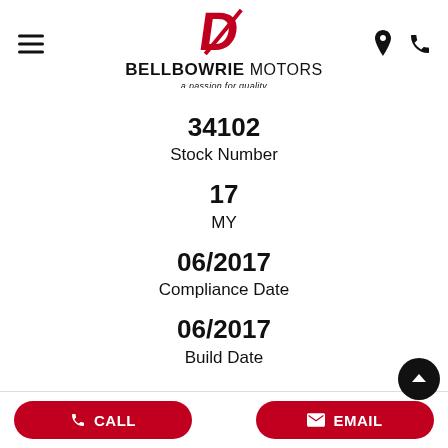[Figure (logo): Bellbowrie Motors logo with red stylized D icon and tagline 'a passion for quality']
34102
Stock Number
17
MY
06/2017
Compliance Date
06/2017
Build Date
CALL  EMAIL